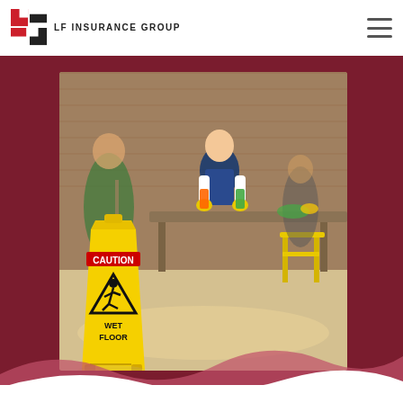LF INSURANCE GROUP
[Figure (photo): A wet floor caution sign in the foreground (yellow sign reading CAUTION / WET FLOOR) with cleaning workers in the background inside a commercial space with brick walls and yellow chairs/tables. Dark red/maroon background outside the photo.]